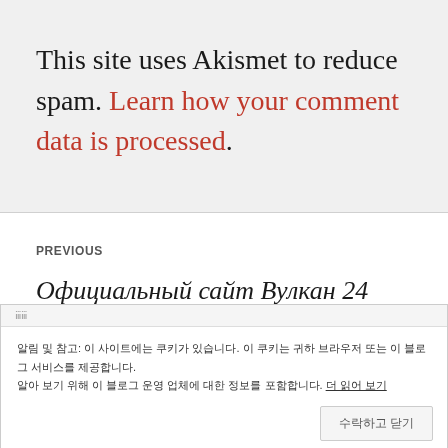This site uses Akismet to reduce spam. Learn how your comment data is processed.
PREVIOUS
Официальный сайт Вулкан 24 онлайн
알림 및 참고: 이 사이트에는 쿠키가 있습니다. 이 쿠키는 귀하 브라우저 또는 이 블로그 서비스를 제공합니다. 알아 보기 위해 이 블로그 운영 업체에 대한 정보를 포함합니다. 더 읽어 보기